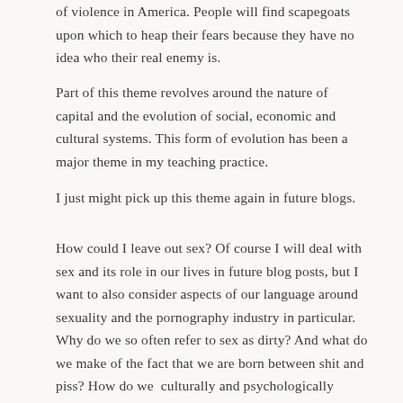of violence in America. People will find scapegoats upon which to heap their fears because they have no idea who their real enemy is.
Part of this theme revolves around the nature of capital and the evolution of social, economic and cultural systems. This form of evolution has been a major theme in my teaching practice.
I just might pick up this theme again in future blogs.
How could I leave out sex? Of course I will deal with sex and its role in our lives in future blog posts, but I want to also consider aspects of our language around sexuality and the pornography industry in particular. Why do we so often refer to sex as dirty? And what do we make of the fact that we are born between shit and piss? How do we  culturally and psychologically address the mess that happens in labour with the wonderfulness of babies and their eventual and necessary deaths?